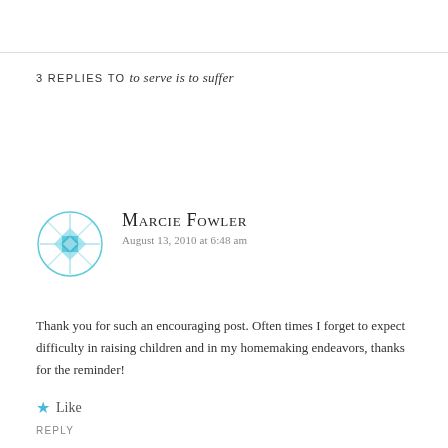3 REPLIES TO to serve is to suffer
[Figure (illustration): Teal/cyan geometric snowflake or quilt-pattern avatar icon for commenter Marcie Fowler]
Marcie Fowler
August 13, 2010 at 6:48 am
Thank you for such an encouraging post. Often times I forget to expect difficulty in raising children and in my homemaking endeavors, thanks for the reminder!
Like
REPLY